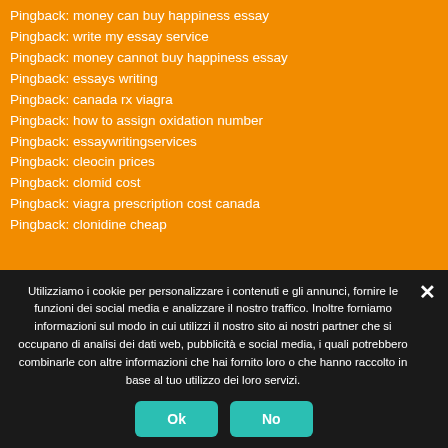Pingback: money can buy happiness essay
Pingback: write my essay service
Pingback: money cannot buy happiness essay
Pingback: essays writing
Pingback: canada rx viagra
Pingback: how to assign oxidation number
Pingback: essaywritingservices
Pingback: cleocin prices
Pingback: clomid cost
Pingback: viagra prescription cost canada
Pingback: clonidine cheap
Utilizziamo i cookie per personalizzare i contenuti e gli annunci, fornire le funzioni dei social media e analizzare il nostro traffico. Inoltre forniamo informazioni sul modo in cui utilizzi il nostro sito ai nostri partner che si occupano di analisi dei dati web, pubblicità e social media, i quali potrebbero combinarle con altre informazioni che hai fornito loro o che hanno raccolto in base al tuo utilizzo dei loro servizi.